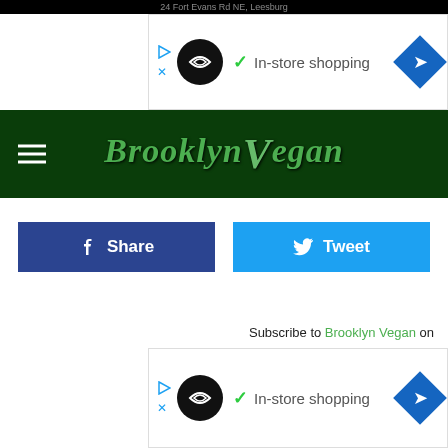[Figure (screenshot): Top advertisement banner with address bar showing '24 Fort Evans Rd NE, Leesburg', ad with circle logo, 'In-store shopping' text with checkmark, and blue diamond arrow icon]
[Figure (logo): Brooklyn Vegan website navigation bar with hamburger menu icon on dark green background and Brooklyn Vegan logo in green italic text]
[Figure (screenshot): Facebook Share button (dark blue) and Tweet button (light blue) side by side]
Subscribe to Brooklyn Vegan on
[Figure (screenshot): Bottom advertisement banner with circle logo, 'In-store shopping' checkmark text, and blue diamond arrow icon]